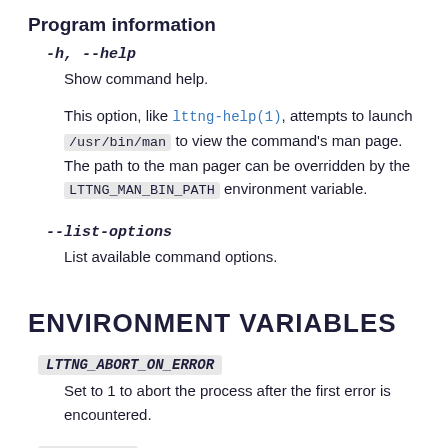Program information
-h, --help
Show command help.
This option, like lttng-help(1), attempts to launch /usr/bin/man to view the command’s man page. The path to the man pager can be overridden by the LTTNG_MAN_BIN_PATH environment variable.
--list-options
List available command options.
ENVIRONMENT VARIABLES
LTTNG_ABORT_ON_ERROR
Set to 1 to abort the process after the first error is encountered.
LTTNG_HOME
Overrides the $HOME environment variable. Useful